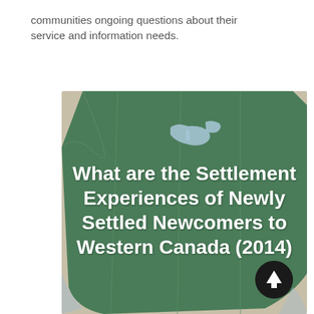communities ongoing questions about their service and information needs.
[Figure (map): A map image of Western Canada with green overlay showing provinces. White bold text overlaid reads: 'What are the Settlement Experiences of Newly Settled Newcomers to Western Canada (2014)'. A dark circular arrow button appears at the bottom right.]